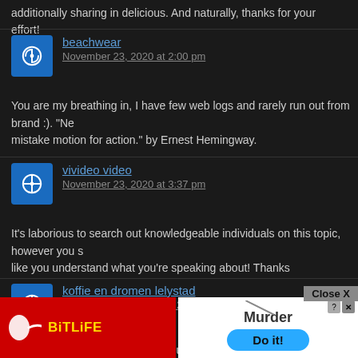additionally sharing in delicious. And naturally, thanks for your effort!
beachwear
November 23, 2020 at 2:00 pm
You are my breathing in, I have few web logs and rarely run out from brand :). "Ne mistake motion for action." by Ernest Hemingway.
vivideo video
November 23, 2020 at 3:37 pm
It's laborious to search out knowledgeable individuals on this topic, however you s like you understand what you're speaking about! Thanks
koffie en dromen lelystad
November 23, 2020 at 9:29 pm
Hi there! This is kind of off topic but I need some help from a hed blog. Is difficult to set up your own blog? I'm not very technical but I can figure things out p quick. I'm t. Do you h any point
[Figure (screenshot): Advertisement overlay: BitLife app ad on left (red background with yellow logo and sperm icon), Murder 'Do it!' game ad on right (white background with blue button). Close X button at top right of overlay area.]